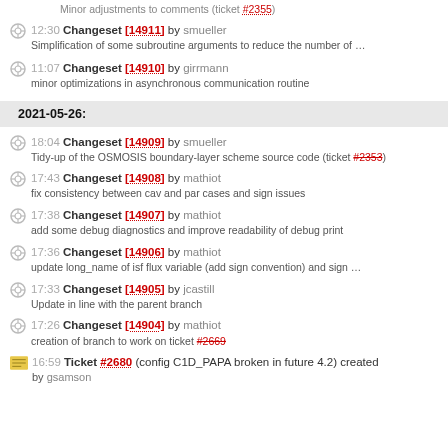Minor adjustments to comments (ticket #2355)
12:30 Changeset [14911] by smueller — Simplification of some subroutine arguments to reduce the number of …
11:07 Changeset [14910] by girrmann — minor optimizations in asynchronous communication routine
2021-05-26:
18:04 Changeset [14909] by smueller — Tidy-up of the OSMOSIS boundary-layer scheme source code (ticket #2353)
17:43 Changeset [14908] by mathiot — fix consistency between cav and par cases and sign issues
17:38 Changeset [14907] by mathiot — add some debug diagnostics and improve readability of debug print
17:36 Changeset [14906] by mathiot — update long_name of isf flux variable (add sign convention) and sign …
17:33 Changeset [14905] by jcastill — Update in line with the parent branch
17:26 Changeset [14904] by mathiot — creation of branch to work on ticket #2669
16:59 Ticket #2680 (config C1D_PAPA broken in future 4.2) created by gsamson